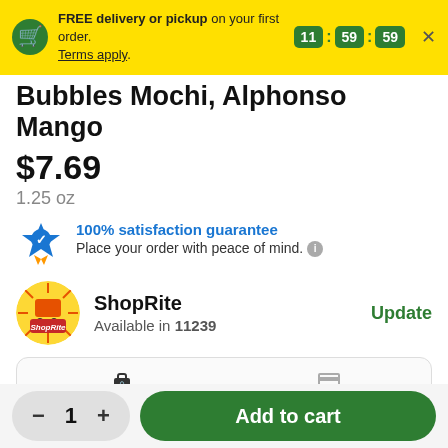FREE delivery or pickup on your first order. Terms apply. 11:59:59
Bubbles Mochi, Alphonso Mango
$7.69
1.25 oz
100% satisfaction guarantee
Place your order with peace of mind.
ShopRite
Available in 11239
Update
Delivery    Pickup
− 1 +   Add to cart